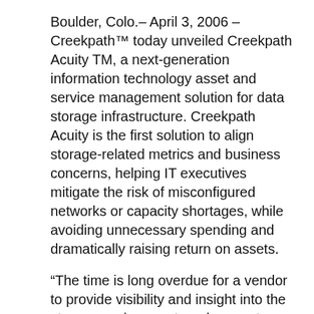Boulder, Colo.– April 3, 2006 – Creekpath™ today unveiled Creekpath Acuity TM, a next-generation information technology asset and service management solution for data storage infrastructure. Creekpath Acuity is the first solution to align storage-related metrics and business concerns, helping IT executives mitigate the risk of misconfigured networks or capacity shortages, while avoiding unnecessary spending and dramatically raising return on assets.
“The time is long overdue for a vendor to provide visibility and insight into the storage environment, and present a business-relevant view of what is really happening. IT executives are business people who need to know in concrete terms the return on storage assets, not how many I/O’s a second a particular box can run,” said Steve Duplessie, founder and senior analyst at